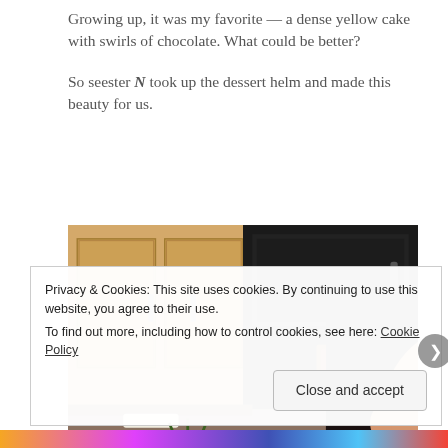Growing up, it was my favorite — a dense yellow cake with swirls of chocolate. What could be better?
So seester N took up the dessert helm and made this beauty for us.
[Figure (photo): Woman with dark hair smiling in a kitchen with wooden cabinets and a refrigerator in the background]
Privacy & Cookies: This site uses cookies. By continuing to use this website, you agree to their use.
To find out more, including how to control cookies, see here: Cookie Policy
Close and accept